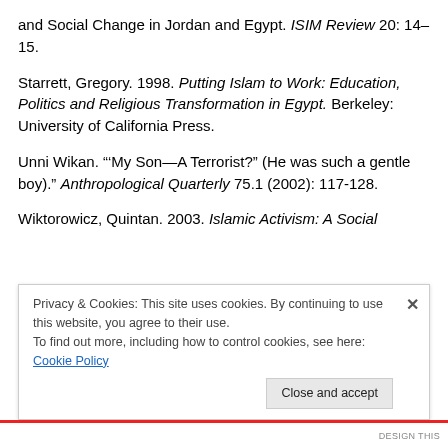and Social Change in Jordan and Egypt. ISIM Review 20: 14–15.
Starrett, Gregory. 1998. Putting Islam to Work: Education, Politics and Religious Transformation in Egypt. Berkeley: University of California Press.
Unni Wikan. "‘My Son—A Terrorist?” (He was such a gentle boy)." Anthropological Quarterly 75.1 (2002): 117-128.
Wiktorowicz, Quintan. 2003. Islamic Activism: A Social
Privacy & Cookies: This site uses cookies. By continuing to use this website, you agree to their use.
To find out more, including how to control cookies, see here: Cookie Policy